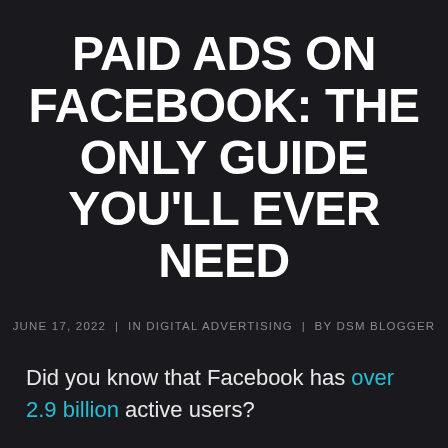PAID ADS ON FACEBOOK: THE ONLY GUIDE YOU'LL EVER NEED
JUNE 17, 2022  |  IN DIGITAL ADVERTISING  |  BY DSM BLOGGER
Did you know that Facebook has over 2.9 billion active users?